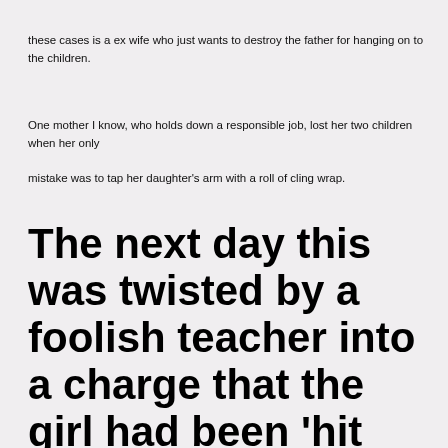these cases is a ex wife who just wants to destroy the father for hanging on to the children.
One mother I know, who holds down a responsible job, lost her two children when her only
mistake was to tap her daughter's arm with a roll of cling wrap.
The next day this was twisted by a foolish teacher into a charge that the girl had been 'hit with an implement', and the court paid a psychiatrist